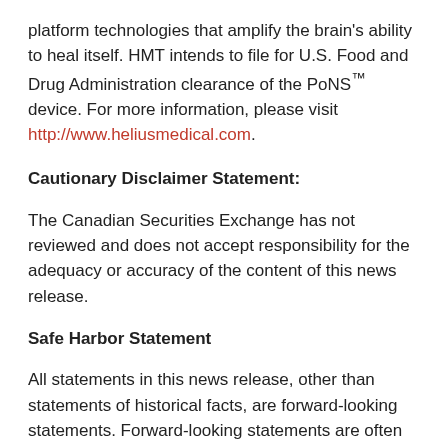platform technologies that amplify the brain's ability to heal itself. HMT intends to file for U.S. Food and Drug Administration clearance of the PoNS™ device. For more information, please visit http://www.heliusmedical.com.
Cautionary Disclaimer Statement:
The Canadian Securities Exchange has not reviewed and does not accept responsibility for the adequacy or accuracy of the content of this news release.
Safe Harbor Statement
All statements in this news release, other than statements of historical facts, are forward-looking statements. Forward-looking statements are often identified by terms such as “will”, “may”, “should”, “anticipate”, “expects” and similar expressions. All statements other than statements of historical fact, included in this release are forward-looking